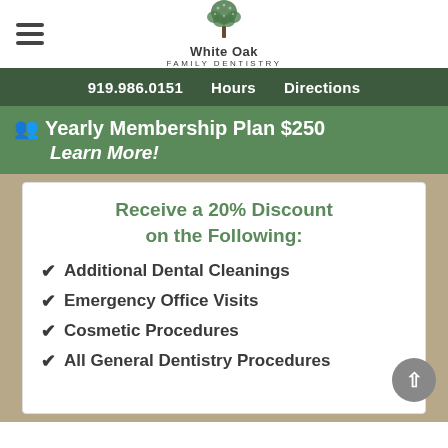White Oak Family Dentistry
919.986.0151  Hours  Directions
Yearly Membership Plan $250 Learn More!
Receive a 20% Discount on the Following:
Additional Dental Cleanings
Emergency Office Visits
Cosmetic Procedures
All General Dentistry Procedures